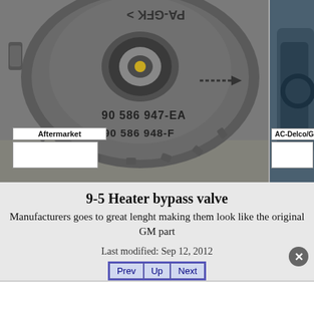[Figure (photo): Aftermarket heater bypass valve seen from the top, showing part numbers 90 586 947-EA and 90 586 948-F stamped on the metal surface, with a circular center port and arrow marking. Label 'Aftermarket' visible on the image.]
[Figure (photo): Partial view of AC-Delco/GM original heater bypass valve on the right side, label 'AC-Delco/G' visible.]
9-5 Heater bypass valve
Manufacturers goes to great lenght making them look like the original GM part
Last modified: Sep 12, 2012